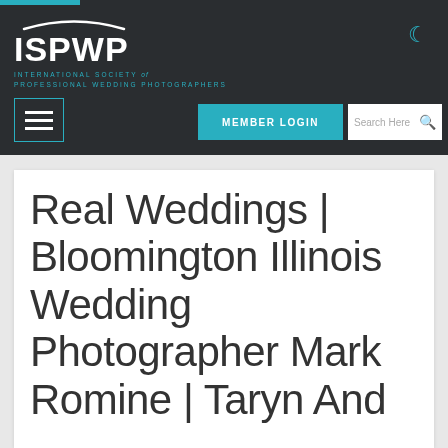[Figure (logo): ISPWP International Society of Professional Wedding Photographers logo with arc graphic above text, white on dark background]
MEMBER LOGIN | Search Here
Real Weddings | Bloomington Illinois Wedding Photographer Mark Romine | Taryn And